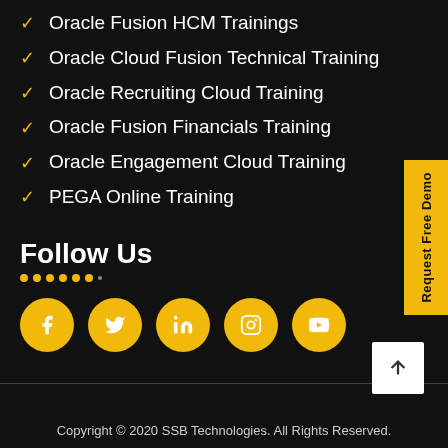Oracle Fusion HCM Trainings
Oracle Cloud Fusion Technical Training
Oracle Recruiting Cloud Training
Oracle Fusion Financials Training
Oracle Engagement Cloud Training
PEGA Online Training
Follow Us
[Figure (other): Social media icons row: Facebook, Twitter, LinkedIn, Instagram, YouTube — yellow circles with white icons]
Request Free Demo
Copyright © 2020 SSB Technologies. All Rights Reserved.